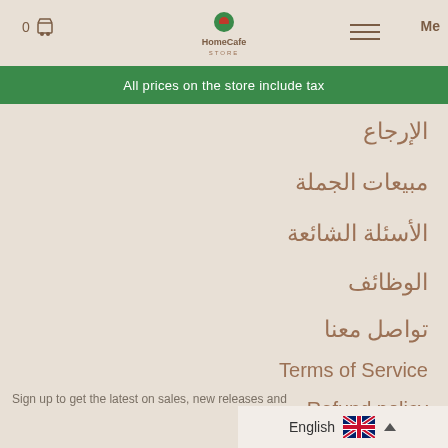0 [cart] HomeCafe STORE [menu] Me
All prices on the store include tax
الإرجاع
مبيعات الجملة
الأسئلة الشائعة
الوظائف
تواصل معنا
Terms of Service
Refund policy
Sign up to get the latest on sales, new releases and
English